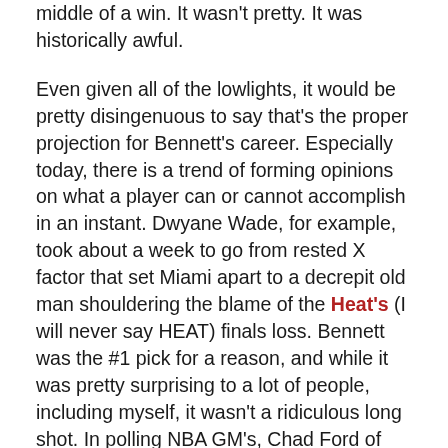middle of a win. It wasn't pretty. It was historically awful.
Even given all of the lowlights, it would be pretty disingenuous to say that's the proper projection for Bennett's career. Especially today, there is a trend of forming opinions on what a player can or cannot accomplish in an instant. Dwyane Wade, for example, took about a week to go from rested X factor that set Miami apart to a decrepit old man shouldering the blame of the Heat's (I will never say HEAT) finals loss. Bennett was the #1 pick for a reason, and while it was pretty surprising to a lot of people, including myself, it wasn't a ridiculous long shot. In polling NBA GM's, Chad Ford of ESPN gathered that just about everybody had the same top 6 players in varying orders. Anthony Bennett was among that group.